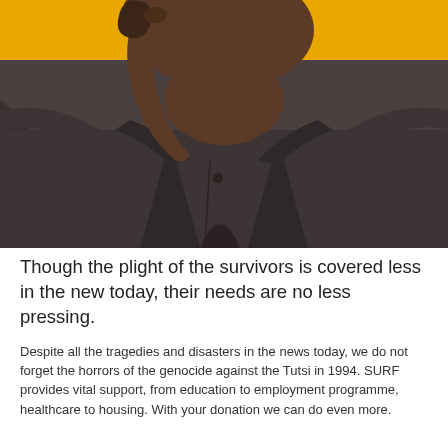[Figure (photo): Close-up photograph of a Black woman wearing a dark grey jacket, raising her right hand which shows a severed or severely injured thumb. The background is yellow/gold.]
Though the plight of the survivors is covered less in the new today, their needs are no less pressing.
Despite all the tragedies and disasters in the news today, we do not forget the horrors of the genocide against the Tutsi in 1994. SURF provides vital support, from education to employment programme, healthcare to housing. With your donation we can do even more.